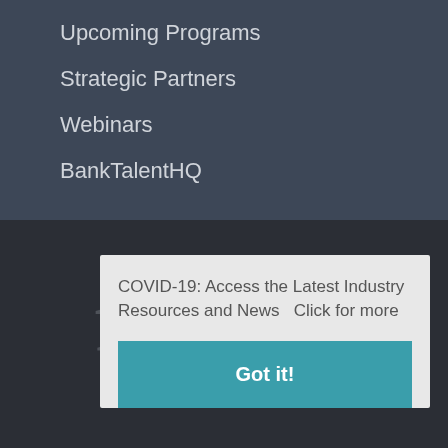Upcoming Programs
Strategic Partners
Webinars
BankTalentHQ
[Figure (illustration): Social media icons for Facebook, LinkedIn, and Twitter rendered in dark grey against a dark background]
COVID-19: Access the Latest Industry Resources and News  Click for more
Got it!